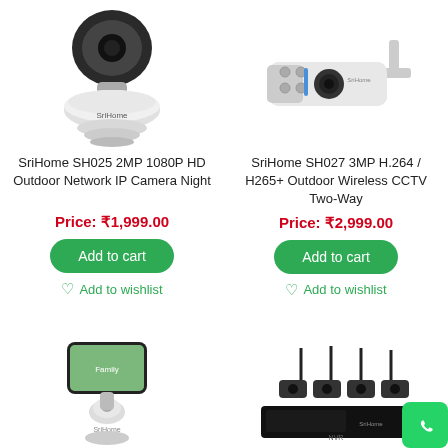[Figure (photo): SriHome indoor dome camera product image, white]
[Figure (photo): SriHome outdoor bullet camera product image, white]
SriHome SH025 2MP 1080P HD Outdoor Network IP Camera Night
Price: ₹1,999.00
Add to cart
Add to wishlist
SriHome SH027 3MP H.264 / H265+ Outdoor Wireless CCTV Two-Way
Price: ₹2,999.00
Add to cart
Add to wishlist
[Figure (photo): Smart phone mounted on SriHome camera with family photo on screen]
[Figure (photo): SriHome NVR security camera system with 4 outdoor cameras and NVR recorder]